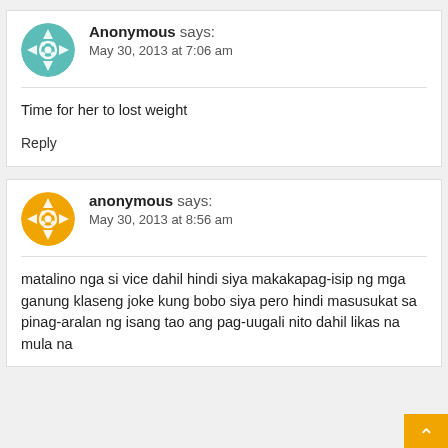Anonymous says:
May 30, 2013 at 7:06 am
Time for her to lost weight
Reply
anonymous says:
May 30, 2013 at 8:56 am
matalino nga si vice dahil hindi siya makakapag-isip ng mga ganung klaseng joke kung bobo siya pero hindi masusukat sa pinag-aralan ng isang tao ang pag-uugali nito dahil likas na mula na